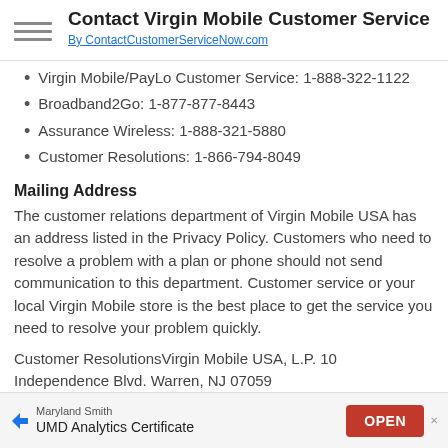Contact Virgin Mobile Customer Service
By ContactCustomerServiceNow.com
Virgin Mobile/PayLo Customer Service: 1-888-322-1122
Broadband2Go: 1-877-877-8443
Assurance Wireless: 1-888-321-5880
Customer Resolutions: 1-866-794-8049
Mailing Address
The customer relations department of Virgin Mobile USA has an address listed in the Privacy Policy. Customers who need to resolve a problem with a plan or phone should not send communication to this department. Customer service or your local Virgin Mobile store is the best place to get the service you need to resolve your problem quickly.
Customer ResolutionsVirgin Mobile USA, L.P. 10 Independence Blvd. Warren, NJ 07059
Official Website
[Figure (infographic): Ad banner: Maryland Smith UMD Analytics Certificate with OPEN button]